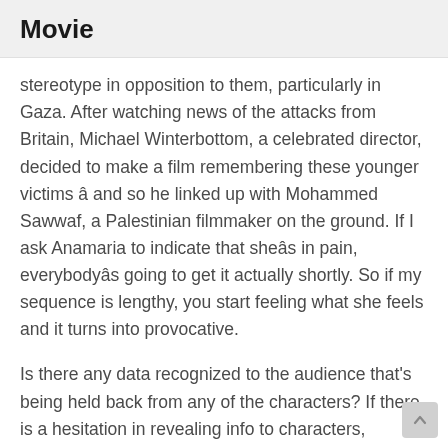Movie
stereotype in opposition to them, particularly in Gaza. After watching news of the attacks from Britain, Michael Winterbottom, a celebrated director, decided to make a film remembering these younger victims â and so he linked up with Mohammed Sawwaf, a Palestinian filmmaker on the ground. If I ask Anamaria to indicate that sheâs in pain, everybodyâs going to get it actually shortly. So if my sequence is lengthy, you start feeling what she feels and it turns into provocative.
Is there any data recognized to the audience that's being held back from any of the characters? If there is a hesitation in revealing info to characters, describe it and clarify how things change once this data turns into recognized to those characters. Subconscious motives are sometimes probably the most powerful causes of